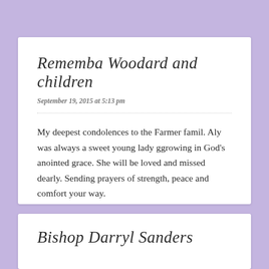Rememba Woodard and children
September 19, 2015 at 5:13 pm
My deepest condolences to the Farmer famil. Aly was always a sweet young lady ggrowing in God's anointed grace. She will be loved and missed dearly. Sending prayers of strength, peace and comfort your way.
Reply
Bishop Darryl Sanders